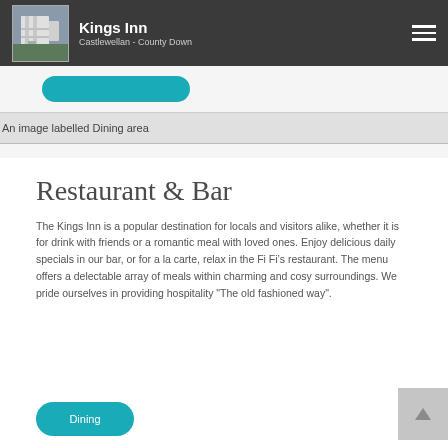Kings Inn
Castlewellan - County Down
[Figure (photo): An image labelled Dining area]
Restaurant & Bar
The Kings Inn is a popular destination for locals and visitors alike, whether it is for drink with friends or a romantic meal with loved ones. Enjoy delicious daily specials in our bar, or for a la carte, relax in the Fi Fi’s restaurant. The menu offers a delectable array of meals within charming and cosy surroundings. We pride ourselves in providing hospitality "The old fashioned way".
Dining